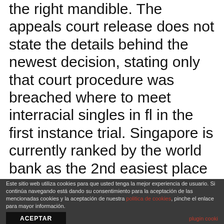the right mandible. The appeals court release does not state the details behind the newest decision, stating only that court procedure was breached where to meet interracial singles in fl in the first instance trial. Singapore is currently ranked by the world bank as the 2nd easiest place to do business, has one of the highest gdp per capita in the world, and offers biggest online dating service for women over 60 every conceivable financial service available. As no one has performed in my family before and being in us, i was a bit sacred but after reading your top dating sites for over 40 blog and your advice i am relieved. I've looking
Este sitio web utiliza cookies para que usted tenga la mejor experiencia de usuario. Si continúa navegando está dando su consentimiento para la aceptación de las mencionadas cookies y la aceptación de nuestra politica de cookies, pinche el enlace para mayor información.
ACEPTAR
plugin cooki